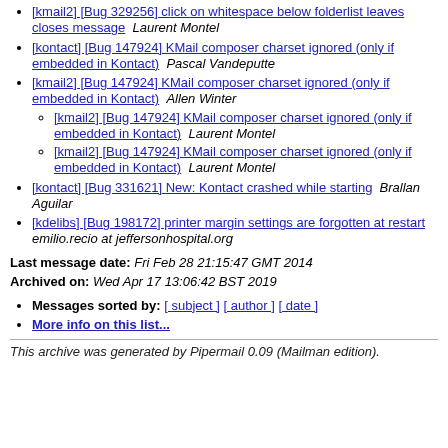[kmail2] [Bug 329256] click on whitespace below folderlist leaves closes message  Laurent Montel
[kontact] [Bug 147924] KMail composer charset ignored (only if embedded in Kontact)  Pascal Vandeputte
[kmail2] [Bug 147924] KMail composer charset ignored (only if embedded in Kontact)  Allen Winter
[kmail2] [Bug 147924] KMail composer charset ignored (only if embedded in Kontact)  Laurent Montel
[kmail2] [Bug 147924] KMail composer charset ignored (only if embedded in Kontact)  Laurent Montel
[kontact] [Bug 331621] New: Kontact crashed while starting  Brallan Aguilar
[kdelibs] [Bug 198172] printer margin settings are forgotten at restart  emilio.recio at jeffersonhospital.org
Last message date: Fri Feb 28 21:15:47 GMT 2014
Archived on: Wed Apr 17 13:06:42 BST 2019
Messages sorted by: [ subject ] [ author ] [ date ]
More info on this list...
This archive was generated by Pipermail 0.09 (Mailman edition).